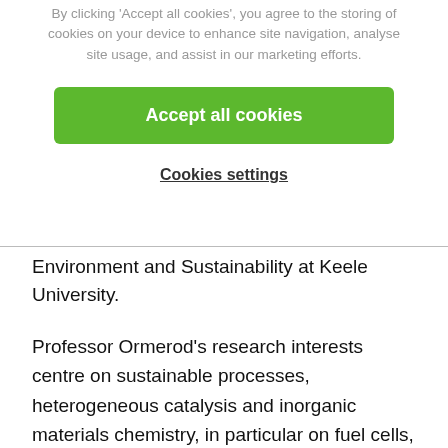By clicking 'Accept all cookies', you agree to the storing of cookies on your device to enhance site navigation, analyse site usage, and assist in our marketing efforts.
[Figure (other): Green 'Accept all cookies' button]
Cookies settings
Environment and Sustainability at Keele University.
Professor Ormerod's research interests centre on sustainable processes, heterogeneous catalysis and inorganic materials chemistry, in particular on fuel cells, clean catalysis and utilisation of waste biomass and